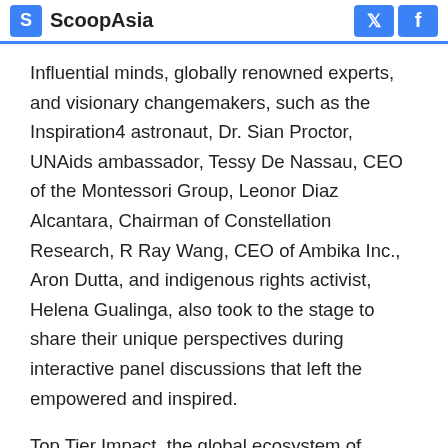ScoopAsia
Influential minds, globally renowned experts, and visionary changemakers, such as the Inspiration4 astronaut, Dr. Sian Proctor, UNAids ambassador, Tessy De Nassau, CEO of the Montessori Group, Leonor Diaz Alcantara, Chairman of Constellation Research, R Ray Wang, CEO of Ambika Inc., Aron Dutta, and indigenous rights activist, Helena Gualinga, also took to the stage to share their unique perspectives during interactive panel discussions that left the empowered and inspired.
Top Tier Impact, the global ecosystem of sustainable leaders and official partner of the World Economic Forum also used the Lan Space to host their private